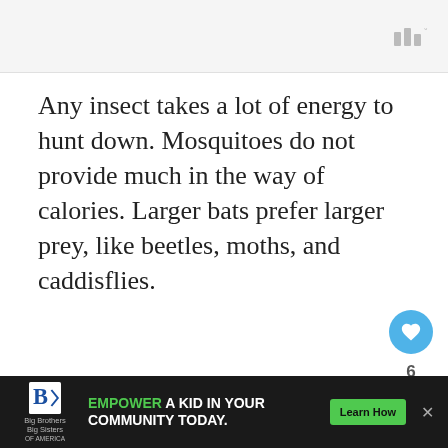[Figure (logo): Website logo/icon (three vertical bars with degree symbol) in top right of gray header bar]
Any insect takes a lot of energy to hunt down. Mosquitoes do not provide much in the way of calories. Larger bats prefer larger prey, like beetles, moths, and caddisflies.
The Whole “Bats Eat 1,000 Mosquitoes an Hour” Thing
WHAT'S NEXT → How Long Do Bats Live?...
[Figure (photo): Circular thumbnail photo of bats]
EMPOWER A KID IN YOUR COMMUNITY TODAY. Learn How — Big Brothers Big Sisters of America ad banner